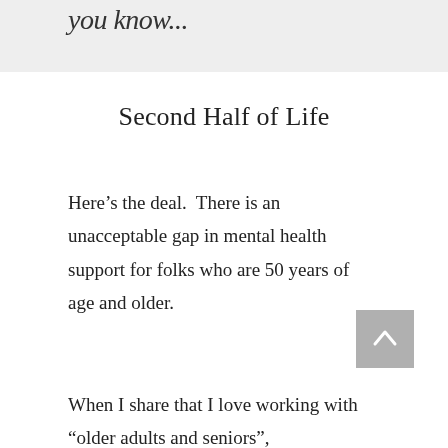you know...
Second Half of Life
Here’s the deal.  There is an unacceptable gap in mental health support for folks who are 50 years of age and older.
When I share that I love working with “older adults and seniors”,